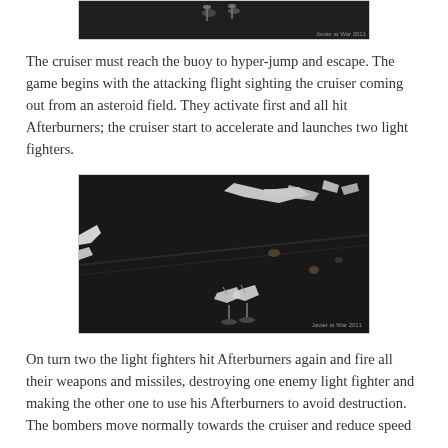[Figure (photo): Top portion of a photo showing miniature spaceship models on a dark surface, with watermark 'Javier at War 2011']
The cruiser must reach the buoy to hyper-jump and escape. The game begins with the attacking flight sighting the cruiser coming out from an asteroid field. They activate first and all hit Afterburners; the cruiser start to accelerate and launches two light fighters.
[Figure (photo): Photo of a tabletop wargame scene with miniature spaceship models on a black surface representing space. Various fighter and cruiser miniatures are visible. Watermark reads 'Javier at War 2011'.]
On turn two the light fighters hit Afterburners again and fire all their weapons and missiles, destroying one enemy light fighter and making the other one to use his Afterburners to avoid destruction. The bombers move normally towards the cruiser and reduce speed